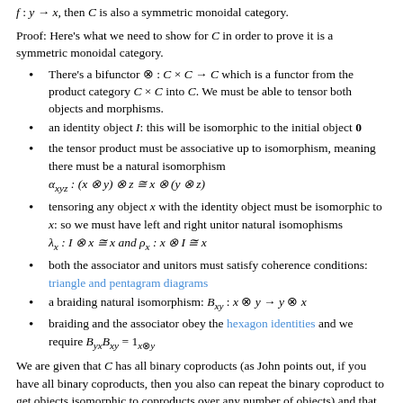f : y → x, then C is also a symmetric monoidal category.
Proof: Here's what we need to show for C in order to prove it is a symmetric monoidal category.
There's a bifunctor ⊗ : C × C → C which is a functor from the product category C × C into C. We must be able to tensor both objects and morphisms.
an identity object I: this will be isomorphic to the initial object 0
the tensor product must be associative up to isomorphism, meaning there must be a natural isomorphism α_xyz : (x ⊗ y) ⊗ z ≅ x ⊗ (y ⊗ z)
tensoring any object x with the identity object must be isomorphic to x: so we must have left and right unitor natural isomophisms λ_x : I ⊗ x ≅ x and ρ_x : x ⊗ I ≅ x
both the associator and unitors must satisfy coherence conditions: triangle and pentagram diagrams
a braiding natural isomorphism: B_xy : x ⊗ y → y ⊗ x
braiding and the associator obey the hexagon identities and we require B_yx B_xy = 1_{x⊗y}
We are given that C has all binary coproducts (as John points out, if you have all binary coproducts, then you also can repeat the binary coproduct to get objects isomorphic to coproducts over any number of objects) and that